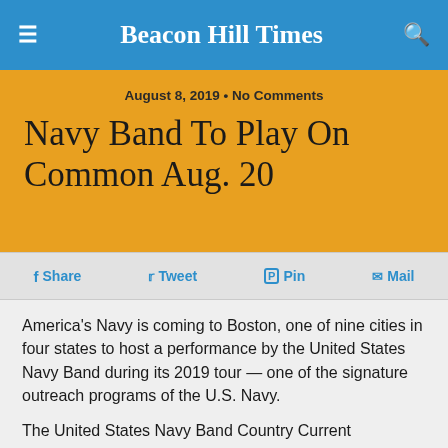Beacon Hill Times
August 8, 2019 • No Comments
Navy Band To Play On Common Aug. 20
Share  Tweet  Pin  Mail
America's Navy is coming to Boston, one of nine cities in four states to host a performance by the United States Navy Band during its 2019 tour — one of the signature outreach programs of the U.S. Navy.
The United States Navy Band Country Current